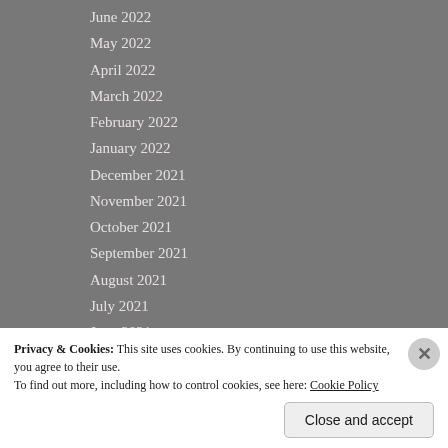June 2022
May 2022
April 2022
March 2022
February 2022
January 2022
December 2021
November 2021
October 2021
September 2021
August 2021
July 2021
June 2021
May 2021
Privacy & Cookies: This site uses cookies. By continuing to use this website, you agree to their use.
To find out more, including how to control cookies, see here: Cookie Policy
Close and accept